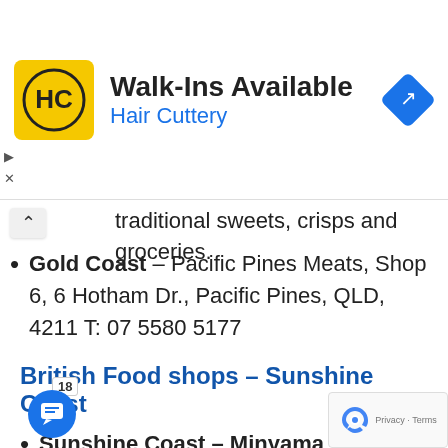[Figure (other): Hair Cuttery advertisement banner with logo, 'Walk-Ins Available' heading, 'Hair Cuttery' subheading, and navigation/directions icon]
traditional sweets, crisps and groceries.
Gold Coast – Pacific Pines Meats, Shop 6, 6 Hotham Dr., Pacific Pines, QLD, 4211 T: 07 5580 5177
British Food shops – Sunshine Coast
Sunshine Coast – Minyama – Kirk's English Patisserie, , 1/21 Nicklin Way, Minyama, Sunshine Coast, QLD T: 07 5477 5980. English food such as: Pork Pies, Eccles Ca… Bakewell Tarts, Cornish Pasties